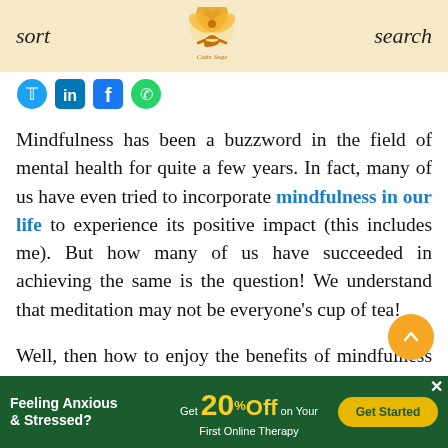sort  [Calm Sage logo]  search
[Figure (logo): Calm Sage lotus logo with figure inside, orange and gold colors, text 'Calm Sage' below]
[Figure (other): Social share icons: Twitter (blue bird), LinkedIn (blue), Facebook (blue), WhatsApp (green)]
Mindfulness has been a buzzword in the field of mental health for quite a few years. In fact, many of us have even tried to incorporate mindfulness in our life to experience its positive impact (this includes me). But how many of us have succeeded in achieving the same is the question! We understand that meditation may not be everyone's cup of tea!
Well, then how to enjoy the benefits of mindfulness meditation? The good news is that
[Figure (other): Orange circular scroll-to-top button with upward chevron]
Feeling Anxious & Stressed? Get 20% Off on Your First Online Therapy  [Get Started button]